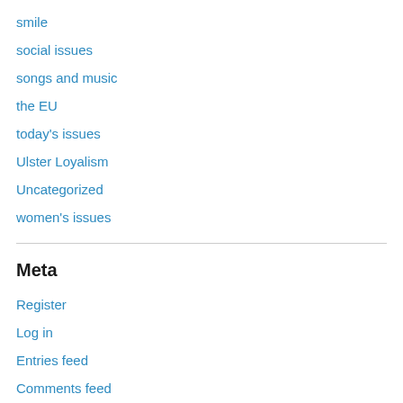smile
social issues
songs and music
the EU
today's issues
Ulster Loyalism
Uncategorized
women's issues
Meta
Register
Log in
Entries feed
Comments feed
WordPress.com